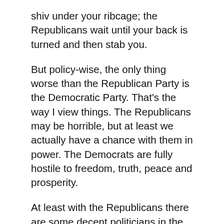shiv under your ribcage; the Republicans wait until your back is turned and then stab you.
But policy-wise, the only thing worse than the Republican Party is the Democratic Party. That's the way I view things. The Republicans may be horrible, but at least we actually have a chance with them in power. The Democrats are fully hostile to freedom, truth, peace and prosperity.
At least with the Republicans there are some decent politicians in the party. And the grassroots of the party is somewhat capable of asserting a degree of control over the primary process and carrying non-establishment candidates to power.
I also have gone on record saying I prefer Ron DeSantis for President in 2024, but I don't know if he's the answer either…